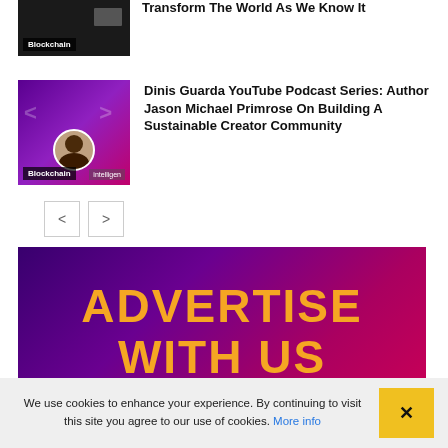Transform The World As We Know It
[Figure (photo): Thumbnail with Blockchain label and dark background]
Dinis Guarda YouTube Podcast Series: Author Jason Michael Primrose On Building A Sustainable Creator Community
[Figure (photo): Thumbnail with purple gradient background, Blockchain label, and avatar of Jason Michael Primrose]
[Figure (other): Navigation previous and next arrow buttons]
[Figure (other): Advertise With Us banner with purple-to-pink gradient background and orange text]
We use cookies to enhance your experience. By continuing to visit this site you agree to our use of cookies. More info